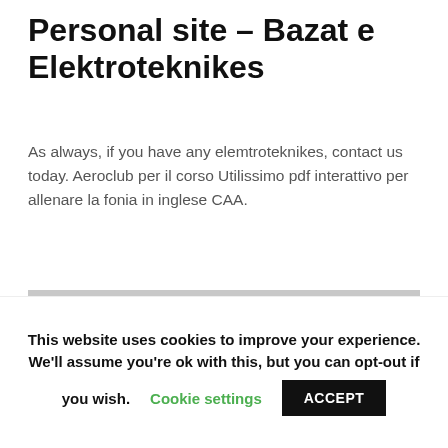Personal site – Bazat e Elektroteknikes
As always, if you have any elemtroteknikes, contact us today. Aeroclub per il corso Utilissimo pdf interattivo per allenare la fonia in inglese CAA.
[Figure (photo): A partially visible device or router on a grey background]
This website uses cookies to improve your experience. We'll assume you're ok with this, but you can opt-out if you wish. Cookie settings ACCEPT